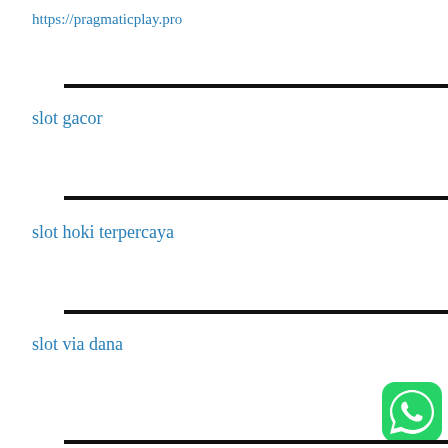https://pragmaticplay.pro
slot gacor
slot hoki terpercaya
slot via dana